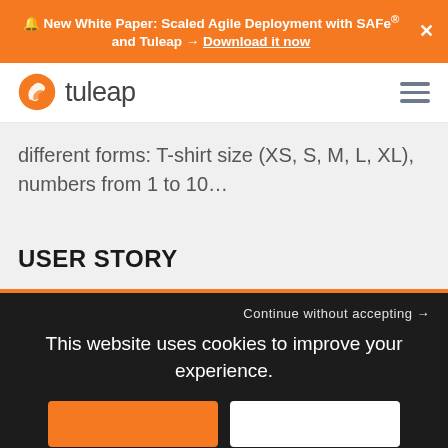🔔 New White Paper: Scaled Agile Deployment with SAFe® and Tuleap → Download it now
[Figure (logo): Tuleap logo with orange leaf icon and 'tuleap' wordmark in dark gray]
different forms: T-shirt size (XS, S, M, L, XL), numbers from 1 to 10…
USER STORY
Continue without accepting →
This website uses cookies to improve your experience.